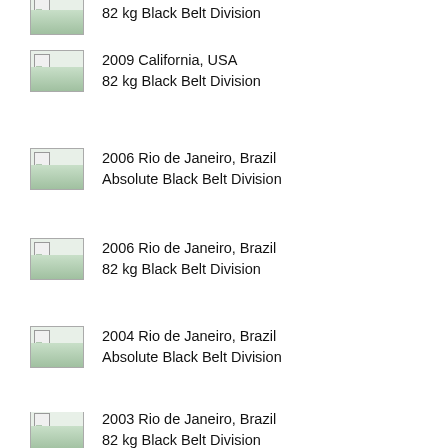82 kg Black Belt Division
2009 California, USA
82 kg Black Belt Division
2006 Rio de Janeiro, Brazil
Absolute Black Belt Division
2006 Rio de Janeiro, Brazil
82 kg Black Belt Division
2004 Rio de Janeiro, Brazil
Absolute Black Belt Division
2004 Rio de Janeiro, Brazil
82 kg Black Belt Division
2003 Rio de Janeiro, Brazil
82 kg Black Belt Division